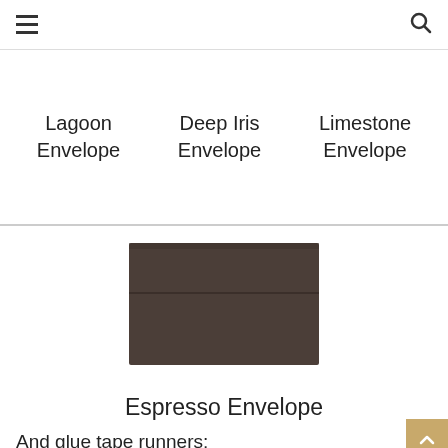Lagoon Envelope   Deep Iris Envelope   Limestone Envelope
[Figure (photo): Dark espresso brown envelope, closed flap, photographed from front]
Espresso Envelope
And glue tape runners: